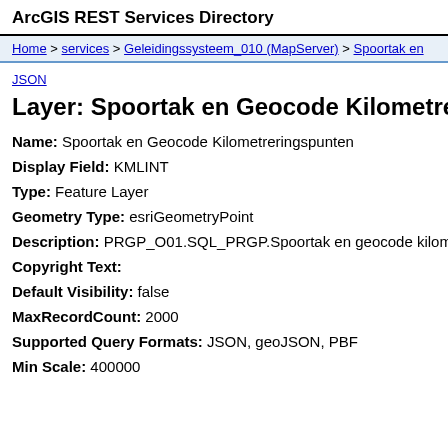ArcGIS REST Services Directory
Home > services > Geleidingssysteem_010 (MapServer) > Spoortak en...
JSON
Layer: Spoortak en Geocode Kilometreringspunten
Name: Spoortak en Geocode Kilometreringspunten
Display Field: KMLINT
Type: Feature Layer
Geometry Type: esriGeometryPoint
Description: PRGP_O01.SQL_PRGP.Spoortak en geocode kilome...
Copyright Text:
Default Visibility: false
MaxRecordCount: 2000
Supported Query Formats: JSON, geoJSON, PBF
Min Scale: 400000